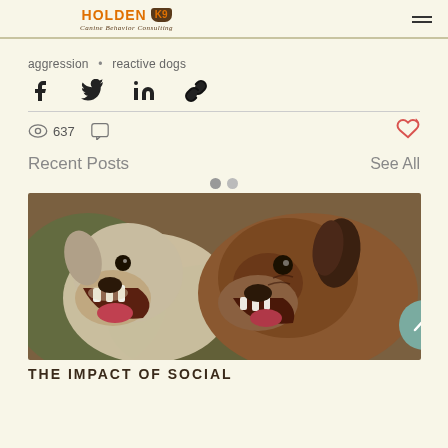HOLDEN K9 Canine Behavior Consulting
aggression • reactive dogs
[Figure (infographic): Social share icons: Facebook, Twitter, LinkedIn, and Link/chain icon]
637 views, comment icon, heart/like button
Recent Posts
See All
[Figure (photo): Photo of two dogs with mouths open, appearing to snarl or bark at each other]
THE IMPACT OF SOCIAL